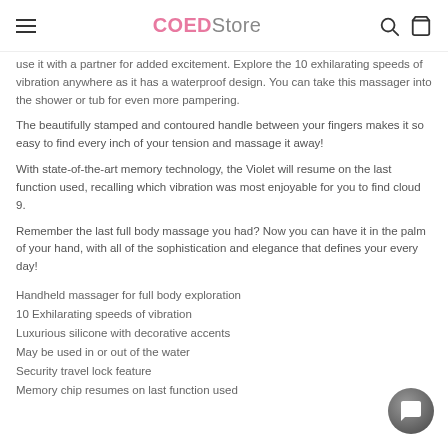COEDStore
use it with a partner for added excitement. Explore the 10 exhilarating speeds of vibration anywhere as it has a waterproof design. You can take this massager into the shower or tub for even more pampering.
The beautifully stamped and contoured handle between your fingers makes it so easy to find every inch of your tension and massage it away!
With state-of-the-art memory technology, the Violet will resume on the last function used, recalling which vibration was most enjoyable for you to find cloud 9.
Remember the last full body massage you had? Now you can have it in the palm of your hand, with all of the sophistication and elegance that defines your every day!
Handheld massager for full body exploration
10 Exhilarating speeds of vibration
Luxurious silicone with decorative accents
May be used in or out of the water
Security travel lock feature
Memory chip resumes on last function used